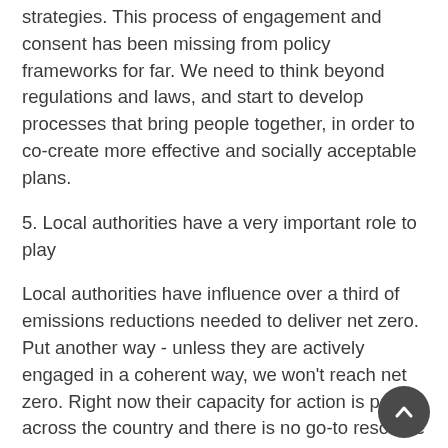strategies. This process of engagement and consent has been missing from policy frameworks for far. We need to think beyond regulations and laws, and start to develop processes that bring people together, in order to co-create more effective and socially acceptable plans.
5. Local authorities have a very important role to play
Local authorities have influence over a third of emissions reductions needed to deliver net zero. Put another way - unless they are actively engaged in a coherent way, we won't reach net zero. Right now their capacity for action is patchy across the country and there is no go-to resource for them. This means that there is a lot of duplication of effort and no common reporting structures. Although funding (or their lack of funding) is a big issue it's not to the only one, and Chris outlined the need to develop a framework for involving Local Authorities directly in